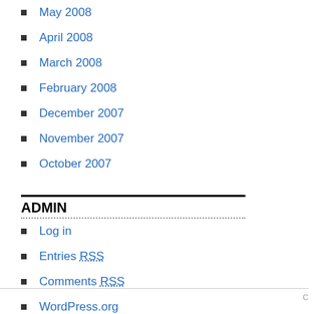May 2008
April 2008
March 2008
February 2008
December 2007
November 2007
October 2007
ADMIN
Log in
Entries RSS
Comments RSS
WordPress.org